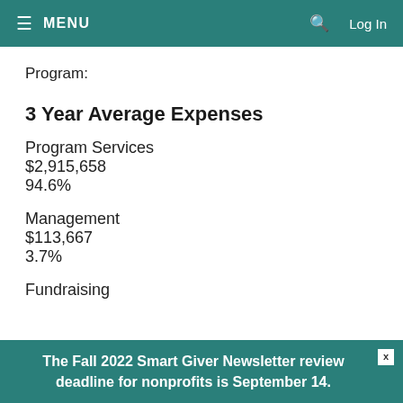≡ MENU   🔍   Log In
Program:
3 Year Average Expenses
Program Services
$2,915,658
94.6%
Management
$113,667
3.7%
Fundraising
The Fall 2022 Smart Giver Newsletter review deadline for nonprofits is September 14.